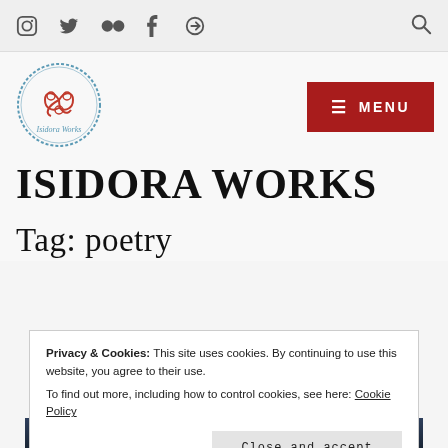Social icons: Instagram, Twitter, Flickr, Tumblr, other; Search icon
[Figure (logo): Isidora Works circular logo with Celtic triskelion symbol and text 'Isidora Works' in blue ink style]
ISIDORA WORKS
Tag: poetry
Privacy & Cookies: This site uses cookies. By continuing to use this website, you agree to their use.
To find out more, including how to control cookies, see here: Cookie Policy
Close and accept
[Figure (photo): Dark ocean or landscape photograph, partially visible at bottom of page]